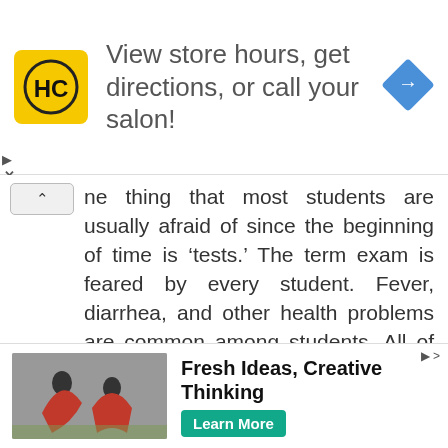[Figure (screenshot): Advertisement banner with HC logo (yellow square with black HC letters), text 'View store hours, get directions, or call your salon!' and a blue diamond arrow icon on the right]
One thing that most students are usually afraid of since the beginning of time is 'tests.' The term exam is feared by every student. Fever, diarrhea, and other health problems are common among students. All of these health problems are true, believe it or not. This is due to the anxiety and stress they are experiencing during the exam. Exam-phobia is the medical word for this condition. Let's look into the true causes and solutions for exam phobia, as this will be helpful for students who are about to
[Figure (screenshot): Advertisement banner with acrobatics/dance silhouette image on left and text 'Fresh Ideas, Creative Thinking' with a teal 'Learn More' button on the right]